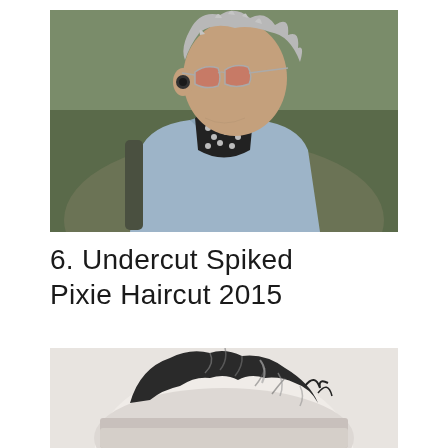[Figure (photo): A person with short spiked silver/grey hair and aviator sunglasses, wearing a denim jacket over a black polka-dot top and an olive jacket, photographed outdoors.]
6. Undercut Spiked Pixie Haircut 2015
[Figure (photo): Close-up top view of dark hair styled in an undercut spiked pixie cut, showing short sides and longer, tousled top with highlights, against a light background.]